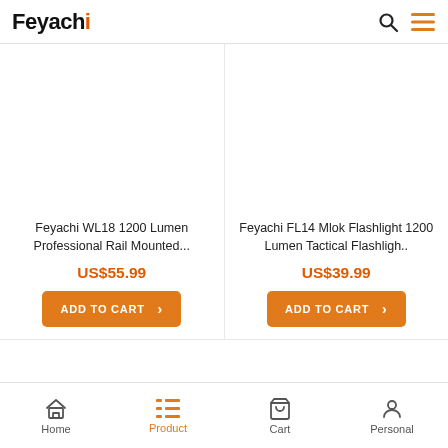Feyachi
[Figure (screenshot): Product listing page showing two products: Feyachi WL18 1200 Lumen Professional Rail Mounted at US$55.99 and Feyachi FL14 Mlok Flashlight 1200 Lumen Tactical Flashlight at US$39.99, each with an ADD TO CART button]
Feyachi WL18 1200 Lumen Professional Rail Mounted...
US$55.99
ADD TO CART
Feyachi FL14 Mlok Flashlight 1200 Lumen Tactical Flashligh..
US$39.99
ADD TO CART
Home  Product  Cart  Personal